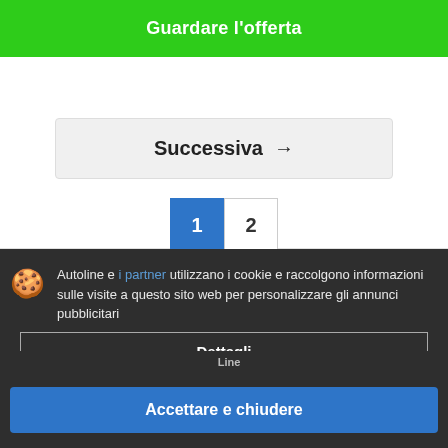Guardare l'offerta
Successiva →
1 2
Autoline e i partner utilizzano i cookie e raccolgono informazioni sulle visite a questo sito web per personalizzare gli annunci pubblicitari
Dettagli
Accettare e chiudere
Società